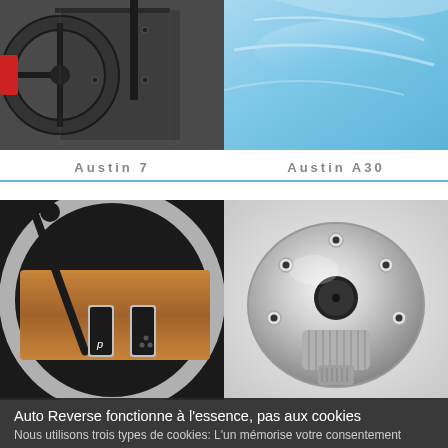[Figure (photo): Close-up photo of a vintage car steering wheel and dashboard interior, dark metallic panels with rivets, red accent visible]
Austin 7
[Figure (photo): Close-up photo of a smooth light blue car body panel with subtle reflective curves]
Austin A30
[Figure (photo): Close-up of a vintage car interior showing a wooden dashboard with gear selector and chrome steering wheel rim]
[Figure (photo): Close-up of a chrome/aluminium quick-release steering wheel boss hub adapter, silver metallic with bolts]
Auto Reverse fonctionne à l'essence, pas aux cookies
Nous utilisons trois types de cookies: L'un mémorise votre consentement